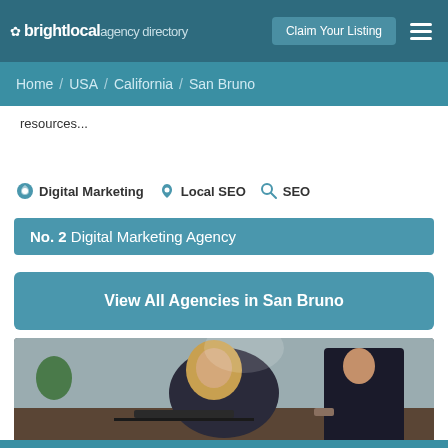brightlocal agency directory — Claim Your Listing
Home / USA / California / San Bruno
resources...
Digital Marketing
Local SEO
SEO
No. 2 Digital Marketing Agency
View All Agencies in San Bruno
[Figure (photo): Two professionals, a blonde woman and a man in a suit, looking at a laptop together in an office setting.]